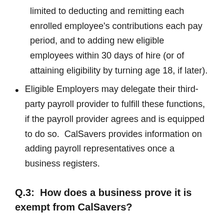limited to deducting and remitting each enrolled employee's contributions each pay period, and to adding new eligible employees within 30 days of hire (or of attaining eligibility by turning age 18, if later).
Eligible Employers may delegate their third-party payroll provider to fulfill these functions, if the payroll provider agrees and is equipped to do so.  CalSavers provides information on adding payroll representatives once a business registers.
Q.3:  How does a business prove it is exempt from CalSavers?